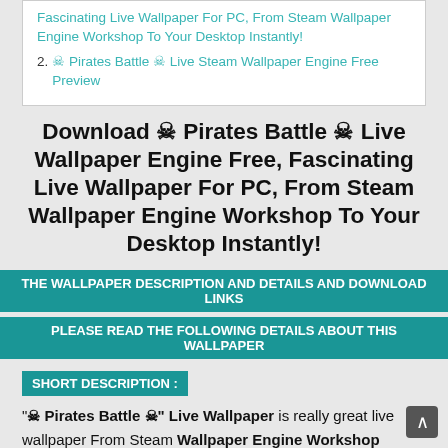Fascinating Live Wallpaper For PC, From Steam Wallpaper Engine Workshop To Your Desktop Instantly!
2. ☠ Pirates Battle ☠ Live Steam Wallpaper Engine Free Preview
Download ☠ Pirates Battle ☠ Live Wallpaper Engine Free, Fascinating Live Wallpaper For PC, From Steam Wallpaper Engine Workshop To Your Desktop Instantly!
THE WALLPAPER DESCRIPTION AND DETAILS AND DOWNLOAD LINKS
PLEASE READ THE FOLLOWING DETAILS ABOUT THIS WALLPAPER
SHORT DESCRIPTION :
"☠ Pirates Battle ☠" Live Wallpaper is really great live wallpaper From Steam Wallpaper Engine Workshop for your computer desktop, it can be the best alternative for your windows desktop images that you are absolutely bored from, so feel free to search